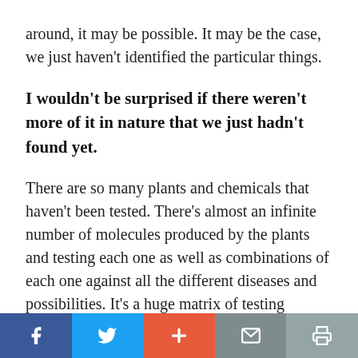around, it may be possible. It may be the case, we just haven't identified the particular things.
I wouldn't be surprised if there weren't more of it in nature that we just hadn't found yet.
There are so many plants and chemicals that haven't been tested. There's almost an infinite number of molecules produced by the plants and testing each one as well as combinations of each one against all the different diseases and possibilities. It's a huge matrix of testing
Social share bar: Facebook, Twitter, Plus, Mail, Print